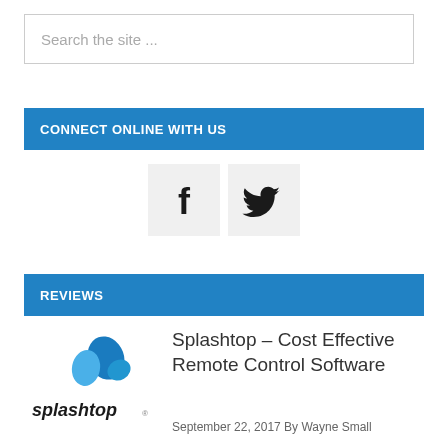Search the site ...
CONNECT ONLINE WITH US
[Figure (illustration): Facebook and Twitter social media icons as grey square buttons]
REVIEWS
[Figure (logo): Splashtop logo with blue splash graphic and splashtop text]
Splashtop – Cost Effective Remote Control Software
September 22, 2017 By Wayne Small